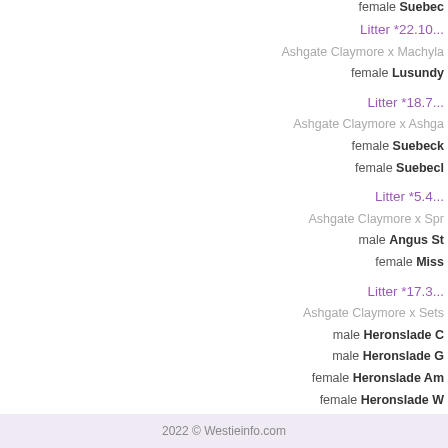female Suebec...
Litter *22.10...
Ashgate Claymore x Machyla...
female Lusundy...
Litter *18.7...
Ashgate Claymore x Ashga...
female Suebeck...
female Suebecl...
Litter *5.4...
Ashgate Claymore x Spr...
male Angus St...
female Miss...
Litter *17.3...
Ashgate Claymore x Sets...
male Heronslade C...
male Heronslade G...
female Heronslade Am...
female Heronslade W...
Litter *5.2...
Ashgate Claymore x L...
male Lasara L...
male Lasara L...
2022 © Westieinfo.com